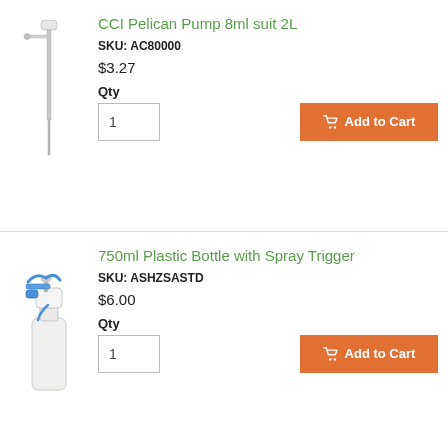[Figure (photo): CCI Pelican Pump product photo - a long thin pump/siphon device]
CCI Pelican Pump 8ml suit 2L
SKU: AC80000
$3.27
Qty
1
Add to Cart
[Figure (photo): 750ml plastic spray bottle with blue spray trigger]
750ml Plastic Bottle with Spray Trigger
SKU: ASHZSASTD
$6.00
Qty
1
Add to Cart